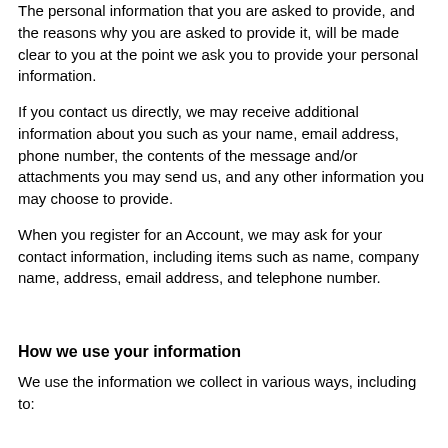The personal information that you are asked to provide, and the reasons why you are asked to provide it, will be made clear to you at the point we ask you to provide your personal information.
If you contact us directly, we may receive additional information about you such as your name, email address, phone number, the contents of the message and/or attachments you may send us, and any other information you may choose to provide.
When you register for an Account, we may ask for your contact information, including items such as name, company name, address, email address, and telephone number.
How we use your information
We use the information we collect in various ways, including to: